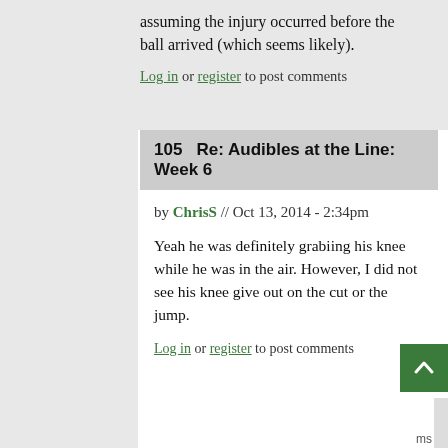assuming the injury occurred before the ball arrived (which seems likely).
Log in or register to post comments
105   Re: Audibles at the Line: Week 6
by ChrisS // Oct 13, 2014 - 2:34pm
Yeah he was definitely grabiing his knee while he was in the air. However, I did not see his knee give out on the cut or the jump.
Log in or register to post comments